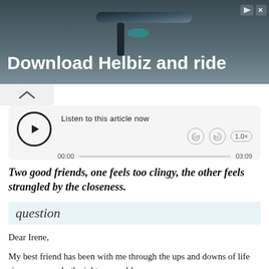[Figure (screenshot): Advertisement banner for Helbiz app showing bicycle/scooter handlebar image with text 'Download Helbiz and ride']
[Figure (screenshot): Audio player widget with play button, 'Listen to this article now' label, time controls showing 00:00 to 03:09, speed control 1.0x]
Two good friends, one feels too clingy, the other feels strangled by the closeness.
question
Dear Irene,
My best friend has been with me through the ups and downs of life since we were both eight years old.
I'm now in my junior year at college. Four years ago, I decided to go to a state school and study to become a vet. I was ecstatic the day I received my acceptance letter but the